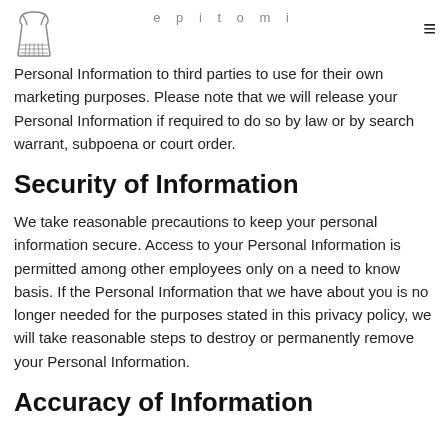epitomi
Personal Information to third parties to use for their own marketing purposes. Please note that we will release your Personal Information if required to do so by law or by search warrant, subpoena or court order.
Security of Information
We take reasonable precautions to keep your personal information secure. Access to your Personal Information is permitted among other employees only on a need to know basis. If the Personal Information that we have about you is no longer needed for the purposes stated in this privacy policy, we will take reasonable steps to destroy or permanently remove your Personal Information.
Accuracy of Information